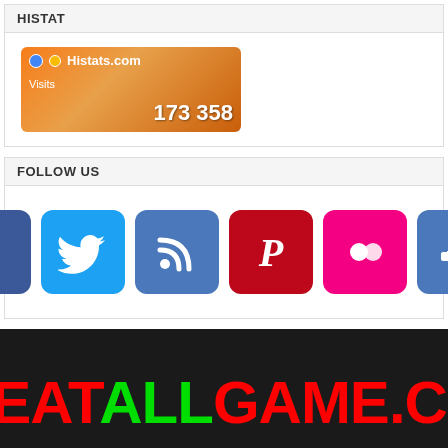HISTAT
[Figure (screenshot): Histats.com visit counter widget showing 173 358 visits on an orange background]
FOLLOW US
[Figure (infographic): Social media icons: Facebook, Twitter, RSS, Pinterest, Flickr, Sitemap]
[Figure (logo): CHEATALLGAME.COM logo in large red and green text on dark background]